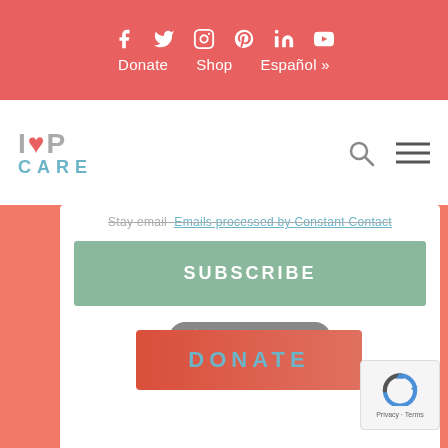Social icons: f, Twitter, Instagram, Pinterest, LinkedIn, YouTube | Donate  Shop  Español »
[Figure (logo): ICP Care logo with heart icon and teal CARE text]
Stay email — Emails processed by Constant Contact
SUBSCRIBE
[Figure (logo): Constant Contact badge/logo]
DONATE
What is ICP?
[Figure (other): reCAPTCHA widget with Privacy and Terms links]